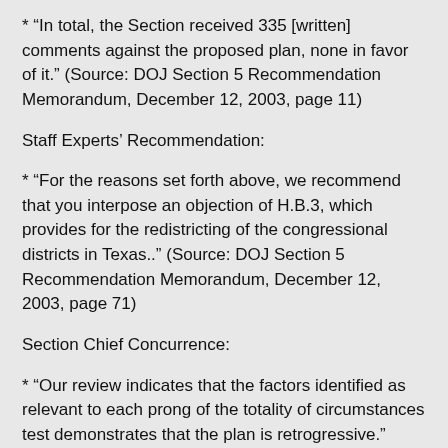* “In total, the Section received 335 [written] comments against the proposed plan, none in favor of it.” (Source: DOJ Section 5 Recommendation Memorandum, December 12, 2003, page 11)
Staff Experts’ Recommendation:
* “For the reasons set forth above, we recommend that you interpose an objection of H.B.3, which provides for the redistricting of the congressional districts in Texas..” (Source: DOJ Section 5 Recommendation Memorandum, December 12, 2003, page 71)
Section Chief Concurrence:
* “Our review indicates that the factors identified as relevant to each prong of the totality of circumstances test demonstrates that the plan is retrogressive.”